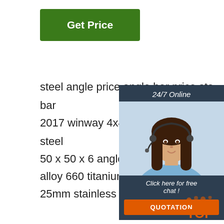[Figure (other): Green 'Get Price' button]
[Figure (other): 24/7 Online customer service sidebar with photo of woman wearing headset, 'Click here for free chat!' text, and orange QUOTATION button]
steel angle price angle bar price ste bar
2017 winway 4x4 guard amarok stai steel
50 x 50 x 6 angle steel iorn bar s3
alloy 660 titanium pure nickel hexag
25mm stainless steel hex bar
dost 090 kebab slicer knife 90mm flat blades
300l 3bbl 300 beer making equipment
machine beer brewery equipment brew
[Figure (other): TOP badge with orange dots and orange TOP text]